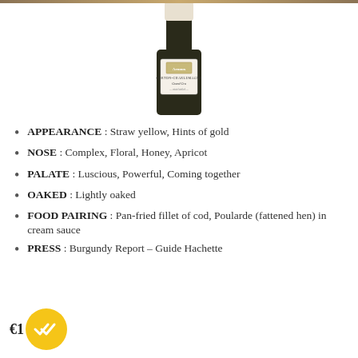[Figure (photo): Wine bottle of Corton-Charlemagne Grand Cru, partially cropped, showing the label with brand name, wine name and appellation]
APPEARANCE : Straw yellow, Hints of gold
NOSE : Complex, Floral, Honey, Apricot
PALATE : Luscious, Powerful, Coming together
OAKED : Lightly oaked
FOOD PAIRING : Pan-fried fillet of cod, Poularde (fattened hen) in cream sauce
PRESS : Burgundy Report – Guide Hachette
[Figure (logo): Gold circular badge with white double-check mark icon, partially overlapping a euro price label]